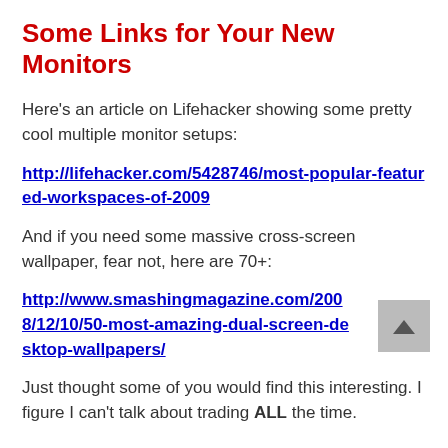Some Links for Your New Monitors
Here's an article on Lifehacker showing some pretty cool multiple monitor setups:
http://lifehacker.com/5428746/most-popular-featured-workspaces-of-2009
And if you need some massive cross-screen wallpaper, fear not, here are 70+:
http://www.smashingmagazine.com/2008/12/10/50-most-amazing-dual-screen-desktop-wallpapers/
Just thought some of you would find this interesting. I figure I can't talk about trading ALL the time.